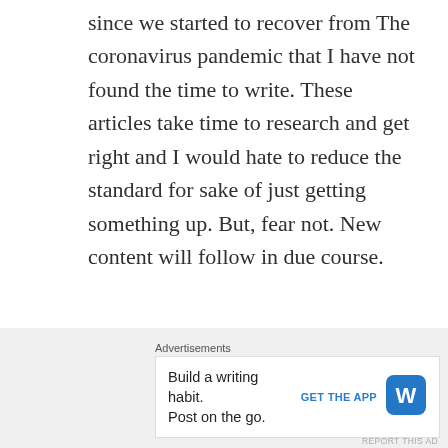since we started to recover from The coronavirus pandemic that I have not found the time to write. These articles take time to research and get right and I would hate to reduce the standard for sake of just getting something up. But, fear not. New content will follow in due course.
Like
Reply
[Figure (screenshot): Dotted horizontal divider line]
[Figure (screenshot): Pink/magenta avatar icon partially visible at bottom]
[Figure (screenshot): Close button (X in circle) on right side]
Advertisements
Build a writing habit. Post on the go.
GET THE APP
[Figure (logo): WordPress logo - blue rounded square with W]
REPORT THIS AD